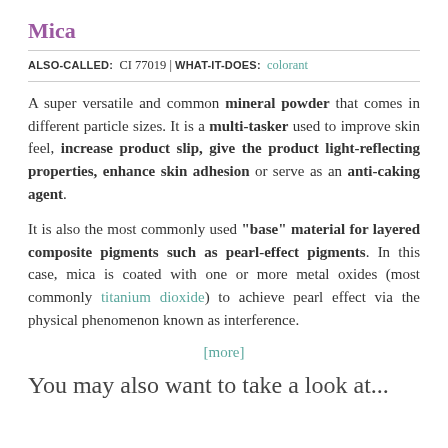Mica
ALSO-CALLED: CI 77019 | WHAT-IT-DOES: colorant
A super versatile and common mineral powder that comes in different particle sizes. It is a multi-tasker used to improve skin feel, increase product slip, give the product light-reflecting properties, enhance skin adhesion or serve as an anti-caking agent.
It is also the most commonly used "base" material for layered composite pigments such as pearl-effect pigments. In this case, mica is coated with one or more metal oxides (most commonly titanium dioxide) to achieve pearl effect via the physical phenomenon known as interference.
[more]
You may also want to take a look at...